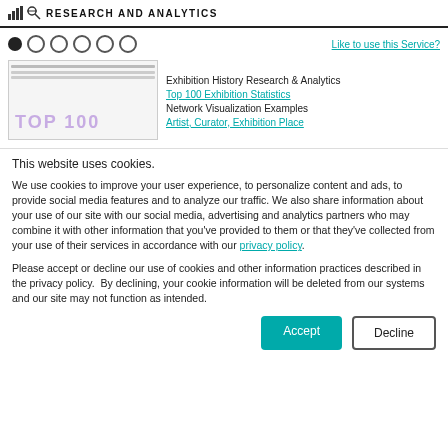RESEARCH AND ANALYTICS
[Figure (screenshot): Navigation dots row with Like to use this Service? link]
[Figure (screenshot): Exhibition History Research & Analytics preview showing TOP 100 thumbnail and links: Top 100 Exhibition Statistics, Network Visualization Examples, Artist, Curator, Exhibition Place]
This website uses cookies.
We use cookies to improve your user experience, to personalize content and ads, to provide social media features and to analyze our traffic. We also share information about your use of our site with our social media, advertising and analytics partners who may combine it with other information that you’ve provided to them or that they’ve collected from your use of their services in accordance with our privacy policy.
Please accept or decline our use of cookies and other information practices described in the privacy policy.  By declining, your cookie information will be deleted from our systems and our site may not function as intended.
Accept
Decline